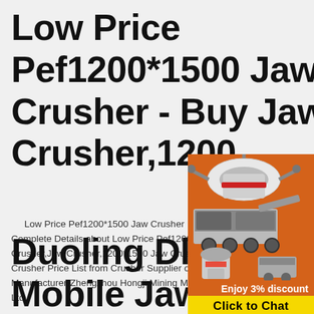Low Price Pef1200*1500 Jaw Crusher - Buy Jaw Crusher,1200 ...
Low Price Pef1200*1500 Jaw Crusher , Find Complete Details about Low Price Pef1200*1500 Jaw Crusher,Jaw Crusher,1200*1500 Jaw Crusher,Crusher Price List from Crusher Supplier or Manufacturer-Zhengzhou Hongji Mining Mach... Ltd.
[Figure (photo): Advertisement sidebar showing mining crusher machinery images on orange background with 'Enjoy 3% discount', 'Click to Chat', 'Enquiry', and 'limingjlmofen@sina.com' contact information]
Duoling Dl-C2000 Mobile Jaw Crus... - Mining ...